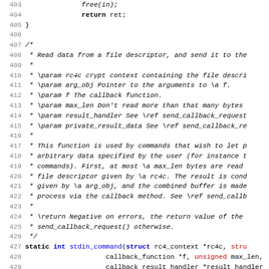Source code listing lines 403-435, C code with comments and function definition for stdin_command